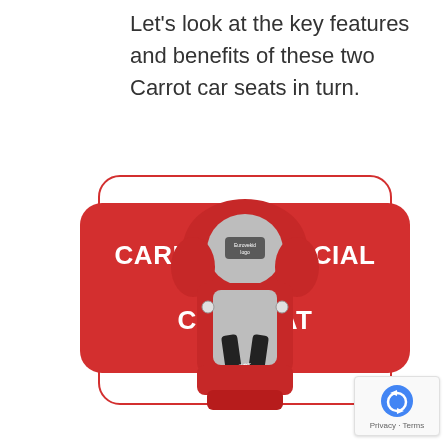Let's look at the key features and benefits of these two Carrot car seats in turn.
CARROT 3 SPECIAL NEEDS CAR SEAT
[Figure (photo): A red and grey Carrot 3 Special Needs Car Seat shown from above/front angle, with red upholstery, grey padding in the center, and black harness straps with CARROT branding. The headrest area shows a Eurovekid logo.]